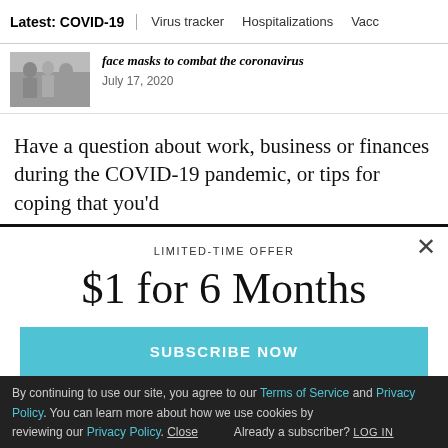Latest: COVID-19 | Virus tracker | Hospitalizations | Vacci
[Figure (photo): Thumbnail photo of people wearing face masks outdoors]
face masks to combat the coronavirus
July 17, 2020
Have a question about work, business or finances during the COVID-19 pandemic, or tips for coping that you'd
LIMITED-TIME OFFER
$1 for 6 Months
SUBSCRIBE NOW
By continuing to use our site, you agree to our Terms of Service and Privacy Policy. You can learn more about how we use cookies by reviewing our Privacy Policy. Close
Already a subscriber? LOG IN